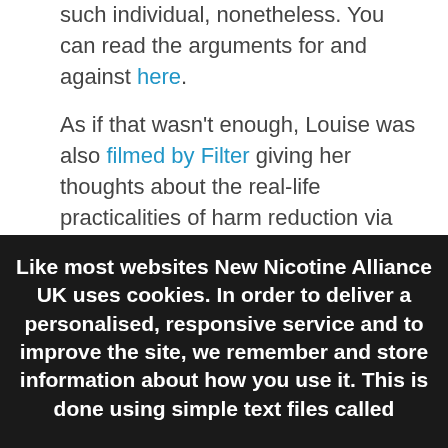such individual, nonetheless. You can read the arguments for and against here.
As if that wasn't enough, Louise was also filmed by Filter giving her thoughts about the real-life practicalities of harm reduction via vaping and how she had
Like most websites New Nicotine Alliance UK uses cookies. In order to deliver a personalised, responsive service and to improve the site, we remember and store information about how you use it. This is done using simple text files called cookies which sit on your computer. These cookies are completely safe and secure and will never contain any sensitive information.
By using our website, you agree to our use of cookies. Learn more
Accept & Close